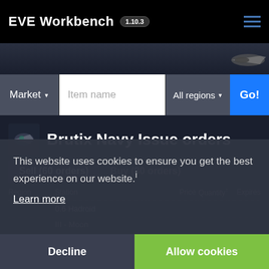EVE Workbench 1.10.3
Brutix Navy Issue orders
Sell (60 orders)
Buy (80 orders)
| Region | Station | Price | Quantity↑ | Expires |
| --- | --- | --- | --- | --- |
|  | 0.6 Hadroid |  |  |  |
|  | III - Moon |  |  |  |
This website uses cookies to ensure you get the best experience on our website.
Learn more
Decline
Allow cookies
Become our patron on PATREON